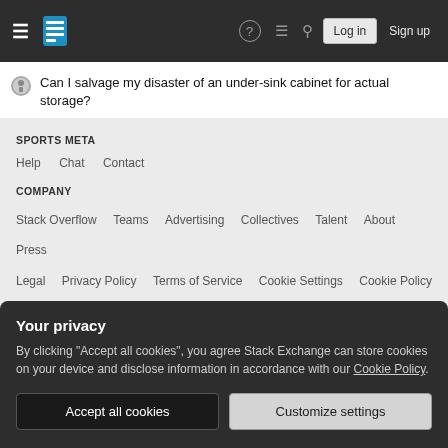Stack Exchange navigation bar with hamburger menu, logo, help, chat, search icons, Log in and Sign up buttons
Can I salvage my disaster of an under-sink cabinet for actual storage?
SPORTS META
Help   Chat   Contact
COMPANY
Stack Overflow   Teams   Advertising   Collectives   Talent   About   Press   Legal   Privacy Policy   Terms of Service   Cookie Settings   Cookie Policy
STACK EXCHANGE NETWORK
Your privacy
By clicking "Accept all cookies", you agree Stack Exchange can store cookies on your device and disclose information in accordance with our Cookie Policy.